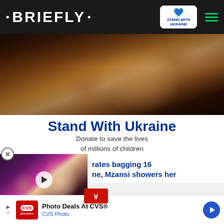• BRIEFLY •
[Figure (photo): Photo of child holding lion cubs, used in Stand With Ukraine donation campaign banner]
Stand With Ukraine
Donate to save the lives of millions of children
[Figure (screenshot): Video thumbnail showing couple with text 'A PSYCHIC PREDICTION OF TRUE LOVE' overlay]
rates bagging 16 ne, Mzansi showers her
Photo Deals At CVS® CVS Photo